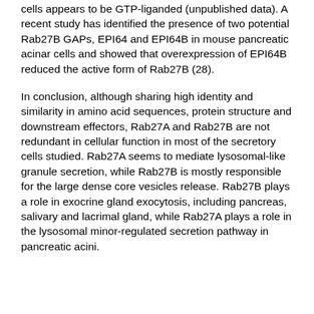cells appears to be GTP-liganded (unpublished data). A recent study has identified the presence of two potential Rab27B GAPs, EPI64 and EPI64B in mouse pancreatic acinar cells and showed that overexpression of EPI64B reduced the active form of Rab27B (28).
In conclusion, although sharing high identity and similarity in amino acid sequences, protein structure and downstream effectors, Rab27A and Rab27B are not redundant in cellular function in most of the secretory cells studied. Rab27A seems to mediate lysosomal-like granule secretion, while Rab27B is mostly responsible for the large dense core vesicles release. Rab27B plays a role in exocrine gland exocytosis, including pancreas, salivary and lacrimal gland, while Rab27A plays a role in the lysosomal minor-regulated secretion pathway in pancreatic acini.